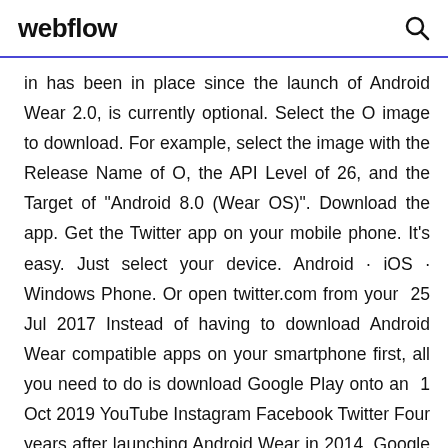webflow
in has been in place since the launch of Android Wear 2.0, is currently optional. Select the O image to download. For example, select the image with the Release Name of O, the API Level of 26, and the Target of "Android 8.0 (Wear OS)". Download the app. Get the Twitter app on your mobile phone. It's easy. Just select your device. Android · iOS · Windows Phone. Or open twitter.com from your  25 Jul 2017 Instead of having to download Android Wear compatible apps on your smartphone first, all you need to do is download Google Play onto an  1 Oct 2019 YouTube Instagram Facebook Twitter Four years after launching Android Wear in 2014, Google renamed the software platform